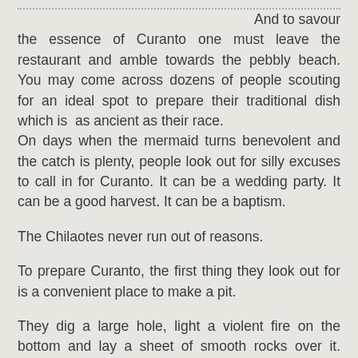……………………………………………………………………………………………………………………………………………………………………… And to savour the essence of Curanto one must leave the restaurant and amble towards the pebbly beach. You may come across dozens of people scouting for an ideal spot to prepare their traditional dish which is as ancient as their race.
On days when the mermaid turns benevolent and the catch is plenty, people look out for silly excuses to call in for Curanto. It can be a wedding party. It can be a good harvest. It can be a baptism.
The Chilaotes never run out of reasons.
To prepare Curanto, the first thing they look out for is a convenient place to make a pit.
They dig a large hole, light a violent fire on the bottom and lay a sheet of smooth rocks over it. When